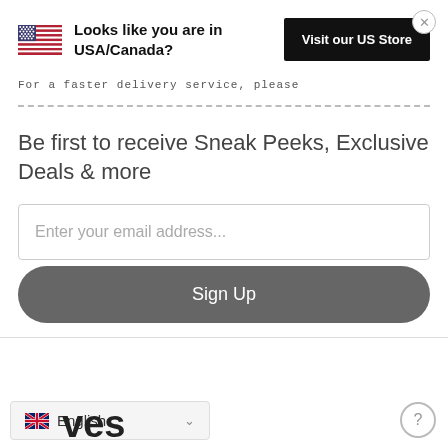Looks like you are in USA/Canada?
Visit our US Store
For a faster delivery service, please
Be first to receive Sneak Peeks, Exclusive Deals & more
Enter your email address...
Sign Up
English